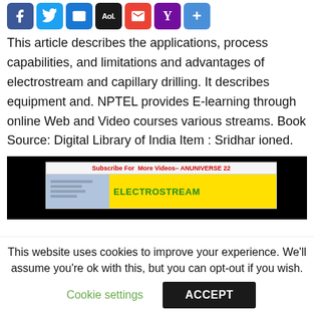[Figure (other): Social sharing icons: Facebook, Twitter, Email, AOL, Gmail, Yahoo, and a plus/share button]
This article describes the applications, process capabilities, and limitations and advantages of electrostream and capillary drilling. It describes equipment and. NPTEL provides E-learning through online Web and Video courses various streams. Book Source: Digital Library of India Item : Sridhar ioned.
[Figure (screenshot): Video thumbnail showing 'Subscribe For More Videos– ANUNIVERSE 22' text and ELECTROSTREAM title with yellow background]
This website uses cookies to improve your experience. We'll assume you're ok with this, but you can opt-out if you wish.
Cookie settings    ACCEPT